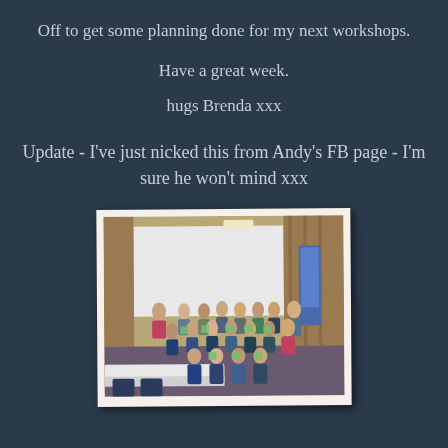Off to get some planning done for my next workshops.
Have a great week.
hugs Brenda xxx
Update - I've just nicked this from Andy's FB page - I'm sure he won't mind xxx
[Figure (photo): Group photo of approximately 30 people in a conference/workshop room, many holding up books or materials, posed together for the photo. Room has wood paneling and a projection screen.]